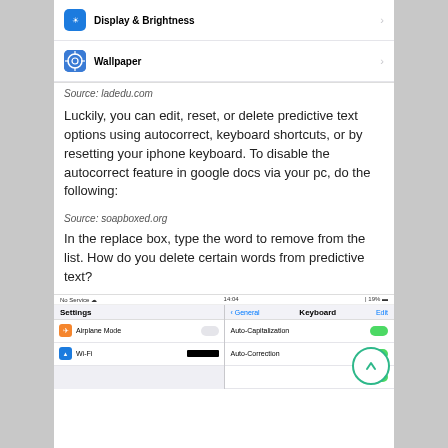[Figure (screenshot): iOS Settings menu showing Display & Brightness and Wallpaper rows]
Source: ladedu.com
Luckily, you can edit, reset, or delete predictive text options using autocorrect, keyboard shortcuts, or by resetting your iphone keyboard. To disable the autocorrect feature in google docs via your pc, do the following:
Source: soapboxed.org
In the replace box, type the word to remove from the list. How do you delete certain words from predictive text?
[Figure (screenshot): iOS Settings and Keyboard screens side by side showing Auto-Capitalization and Auto-Correction toggles]